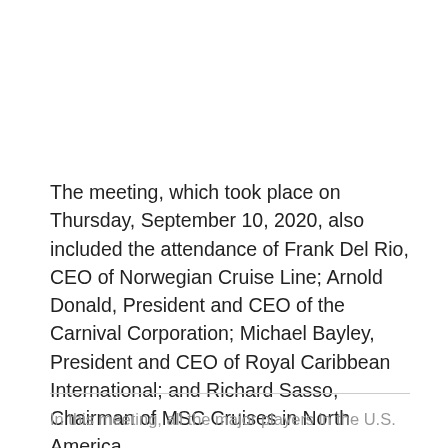The meeting, which took place on Thursday, September 10, 2020, also included the attendance of Frank Del Rio, CEO of Norwegian Cruise Line; Arnold Donald, President and CEO of the Carnival Corporation; Michael Bayley, President and CEO of Royal Caribbean International; and Richard Sasso, Chairman of MSC Cruises in North America.
In this meeting, all the major players in the U.S.